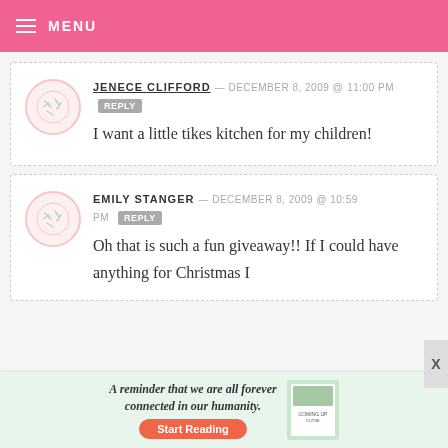MENU
JENECE CLIFFORD — DECEMBER 8, 2009 @ 11:00 PM REPLY
I want a little tikes kitchen for my children!
EMILY STANGER — DECEMBER 8, 2009 @ 10:59 PM REPLY
Oh that is such a fun giveaway!! If I could have anything for Christmas I
[Figure (infographic): Advertisement banner: 'A reminder that we are all forever connected in our humanity.' with a Start Reading button and book cover image.]